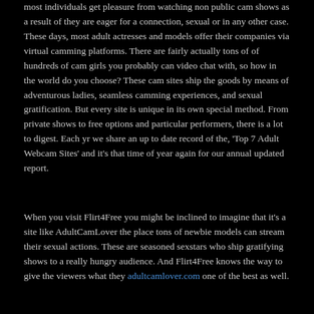most individuals get pleasure from watching non public cam shows as a result of they are eager for a connection, sexual or in any other case. These days, most adult actresses and models offer their companies via virtual camming platforms. There are fairly actually tons of of hundreds of cam girls you probably can video chat with, so how in the world do you choose? These cam sites ship the goods by means of adventurous ladies, seamless camming experiences, and sexual gratification. But every site is unique in its own special method. From private shows to free options and particular performers, there is a lot to digest. Each yr we share an up to date record of the, 'Top 7 Adult Webcam Sites' and it's that time of year again for our annual updated report.
When you visit Flirt4Free you might be inclined to imagine that it's a site like AdultCamLover the place tons of newbie models can stream their sexual actions. These are seasoned sexstars who ship gratifying shows to a really hungry audience. And Flirt4Free knows the way to give the viewers what they adultcamlover.com one of the best as well.